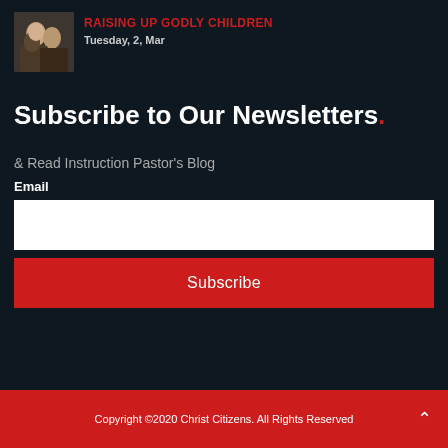[Figure (photo): Small thumbnail photo of children, possibly in a church or religious setting]
RAISING UP GODLY CHILDREN
Tuesday, 2, Mar
Subscribe to Our Newsletters.
& Read Instruction Pastor's Blog
Email
Subscribe
Copyright ©2020 Christ Citizens. All Rights Reserved